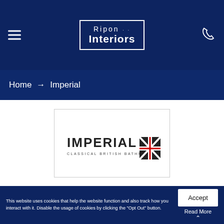Ripon Interiors — navigation header with hamburger menu and phone icon
Home → Imperial
[Figure (logo): Imperial Classical British Bathrooms logo — text 'IMPERIAL' in bold capitals with Union Jack graphic element, subtitle 'CLASSICAL BRITISH BATHROOMS']
This website uses cookies that help the website function and also track how you interact with it. Disable the usage of cookies by clicking the "Opt Out" button.
Accept
Read More